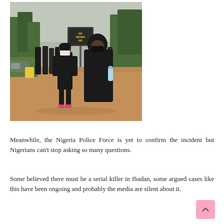[Figure (photo): Outdoor protest scene showing a line of people wearing black and face masks walking along a dirt road. In the foreground are two women in black attire, one wearing a face mask and the other a black hijab. In the background, protesters carry signs including one reading 'NO MEANS NO'. Trees and an overcast sky are visible in the background.]
Meanwhile, the Nigeria Police Force is yet to confirm the incident but Nigerians can't stop asking so many questions.
Some believed there must be a serial killer in Ibadan, some argued cases like this have been ongoing and probably the media are silent about it.